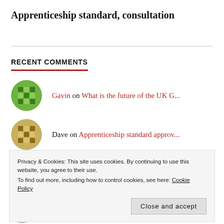Apprenticeship standard, consultation
RECENT COMMENTS
Gavin on What is the future of the UK G...
Dave on Apprenticeship standard approv...
Privacy & Cookies: This site uses cookies. By continuing to use this website, you agree to their use.
To find out more, including how to control cookies, see here: Cookie Policy
Close and accept
Steve Horton - W Hor... on What is the future of the